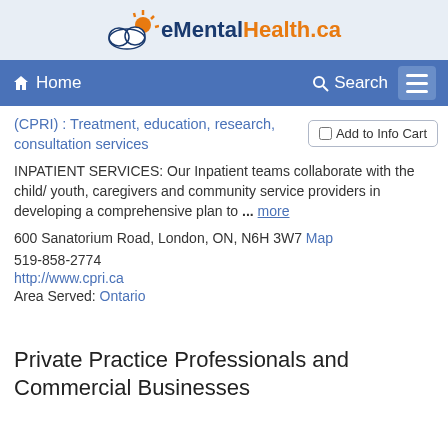eMentalHealth.ca
Home  Search
(CPRI) : Treatment, education, research, consultation services
Add to Info Cart
INPATIENT SERVICES: Our Inpatient teams collaborate with the child/ youth, caregivers and community service providers in developing a comprehensive plan to ... more
600 Sanatorium Road, London, ON, N6H 3W7 Map
519-858-2774
http://www.cpri.ca
Area Served: Ontario
Private Practice Professionals and Commercial Businesses